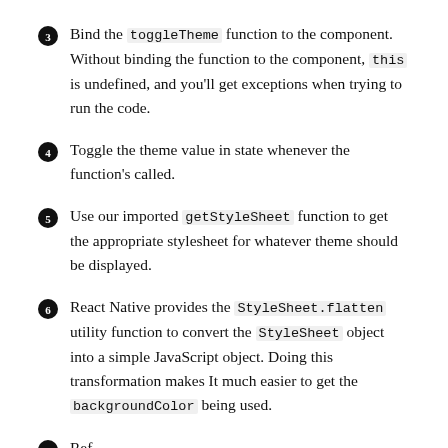❸ Bind the toggleTheme function to the component. Without binding the function to the component, this is undefined, and you'll get exceptions when trying to run the code.
❹ Toggle the theme value in state whenever the function's called.
❺ Use our imported getStyleSheet function to get the appropriate stylesheet for whatever theme should be displayed.
❻ React Native provides the StyleSheet.flatten utility function to convert the StyleSheet object into a simple JavaScript object. Doing this transformation makes It much easier to get the backgroundColor being used.
❼ (partial, cut off)